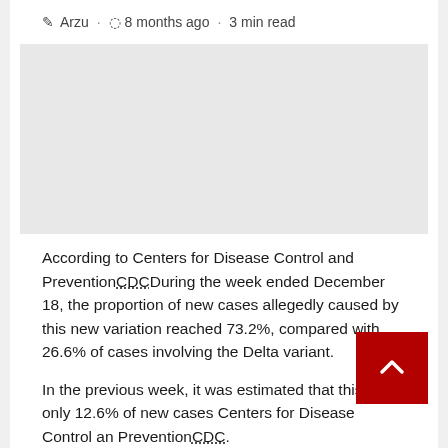✎ Arzu · ⏱ 8 months ago · 3 min read
[Figure (photo): Image placeholder area (advertisement or article image)]
According to Centers for Disease Control and PreventionCDCDuring the week ended December 18, the proportion of new cases allegedly caused by this new variation reached 73.2%, compared with 26.6% of cases involving the Delta variant.
In the previous week, it was estimated that this was only 12.6% of new cases Centers for Disease Control and PreventionCDC.
Its spread is even more southeastern, including Alabama, Florida and Mississippi in some parts of the country.